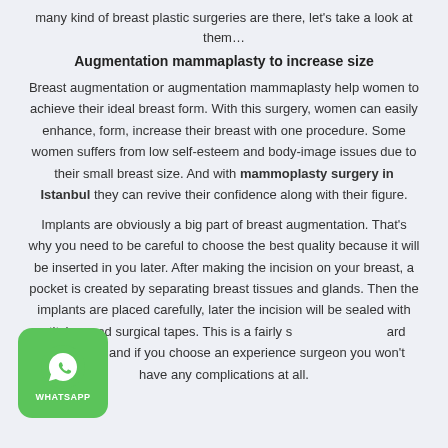many kind of breast plastic surgeries are there, let's take a look at them…
Augmentation mammaplasty to increase size
Breast augmentation or augmentation mammaplasty help women to achieve their ideal breast form. With this surgery, women can easily enhance, form, increase their breast with one procedure. Some women suffers from low self-esteem and body-image issues due to their small breast size. And with mammoplasty surgery in Istanbul they can revive their confidence along with their figure.
Implants are obviously a big part of breast augmentation. That's why you need to be careful to choose the best quality because it will be inserted in you later. After making the incision on your breast, a pocket is created by separating breast tissues and glands. Then the implants are placed carefully, later the incision will be sealed with stitches and surgical tapes. This is a fairly standard procedure, and if you choose an experience surgeon you won't have any complications at all.